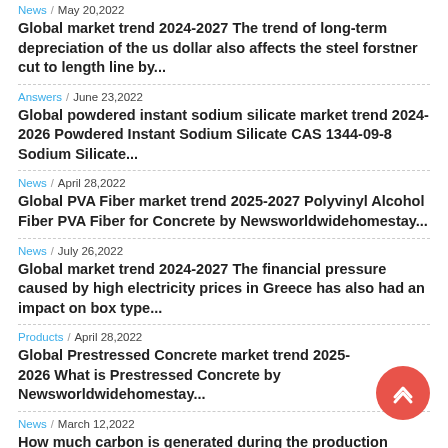News / May 20,2022
Global market trend 2024-2027 The trend of long-term depreciation of the us dollar also affects the steel forstner cut to length line by...
Answers / June 23,2022
Global powdered instant sodium silicate market trend 2024-2026 Powdered Instant Sodium Silicate CAS 1344-09-8 Sodium Silicate...
News / April 28,2022
Global PVA Fiber market trend 2025-2027 Polyvinyl Alcohol Fiber PVA Fiber for Concrete by Newsworldwidehomestay...
News / July 26,2022
Global market trend 2024-2027 The financial pressure caused by high electricity prices in Greece has also had an impact on box type...
Products / April 28,2022
Global Prestressed Concrete market trend 2025-2026 What is Prestressed Concrete by Newsworldwidehomestay...
News / March 12,2022
How much carbon is generated during the production process of the ipad 6th generation screen replacement...